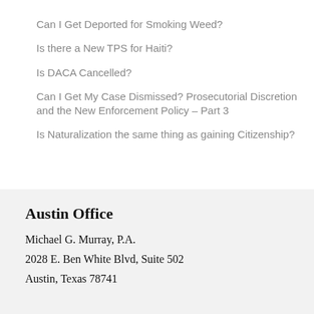Can I Get Deported for Smoking Weed?
Is there a New TPS for Haiti?
Is DACA Cancelled?
Can I Get My Case Dismissed? Prosecutorial Discretion and the New Enforcement Policy – Part 3
Is Naturalization the same thing as gaining Citizenship?
Austin Office
Michael G. Murray, P.A.
2028 E. Ben White Blvd, Suite 502
Austin, Texas 78741